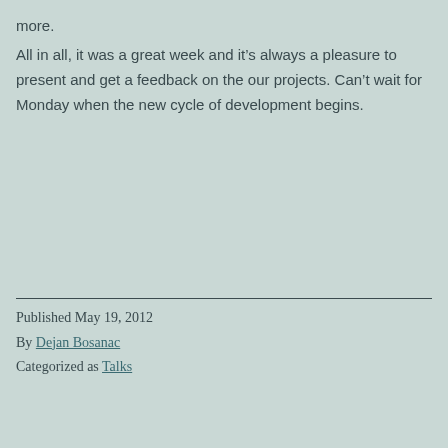more.
All in all, it was a great week and it’s always a pleasure to present and get a feedback on the our projects. Can’t wait for Monday when the new cycle of development begins.
Published May 19, 2012
By Dejan Bosanac
Categorized as Talks